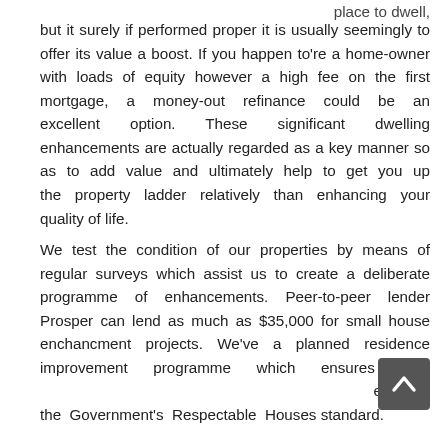place to dwell, but it surely if performed proper it is usually seemingly to offer its value a boost. If you happen to're a home-owner with loads of equity however a high fee on the first mortgage, a money-out refinance could be an excellent option. These significant dwelling enhancements are actually regarded as a key manner so as to add value and ultimately help to get you up the property ladder relatively than enhancing your quality of life.
We test the condition of our properties by means of regular surveys which assist us to create a deliberate programme of enhancements. Peer-to-peer lender Prosper can lend as much as $35,000 for small house enchancment projects. We've a planned residence improvement programme which ensures your home exceeds the Government's Respectable Houses standard.